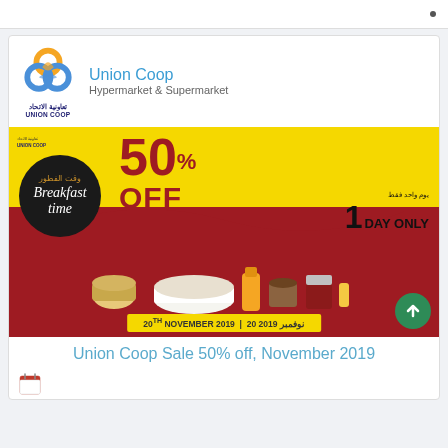[Figure (logo): Union Coop logo with interlocking circles in blue, orange, and yellow, with Arabic and English text below]
Union Coop
Hypermarket & Supermarket
[Figure (infographic): Union Coop promotional banner: 50% OFF, Breakfast time, 1 DAY ONLY, 20th November 2019 | 20 نوفمبر 2019, with breakfast food items on red and yellow background]
Union Coop Sale 50% off, November 2019